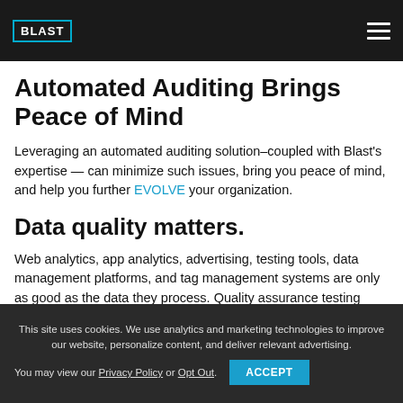Inaccurate data can lead you down the wrong path, costing you additional resources to reverse bad decisions that could have been avoided.
Automated Auditing Brings Peace of Mind
Leveraging an automated auditing solution–coupled with Blast's expertise — can minimize such issues, bring you peace of mind, and help you further EVOLVE your organization.
Data quality matters.
Web analytics, app analytics, advertising, testing tools, data management platforms, and tag management systems are only as good as the data they process. Quality assurance testing confirms that the source of this data — the tags on your website and in your apps — are
This site uses cookies. We use analytics and marketing technologies to improve our website, personalize content, and deliver relevant advertising. You may view our Privacy Policy or Opt Out. ACCEPT